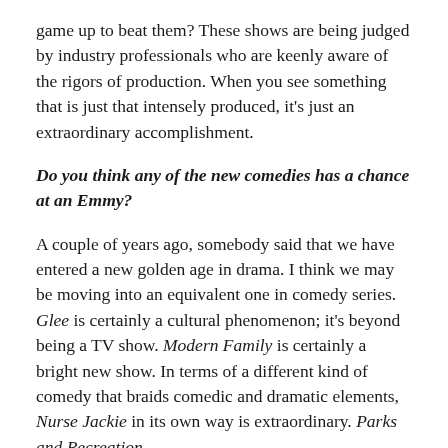game up to beat them? These shows are being judged by industry professionals who are keenly aware of the rigors of production. When you see something that is just that intensely produced, it's just an extraordinary accomplishment.
Do you think any of the new comedies has a chance at an Emmy?
A couple of years ago, somebody said that we have entered a new golden age in drama. I think we may be moving into an equivalent one in comedy series. Glee is certainly a cultural phenomenon; it's beyond being a TV show. Modern Family is certainly a bright new show. In terms of a different kind of comedy that braids comedic and dramatic elements, Nurse Jackie in its own way is extraordinary. Parks and Recreation